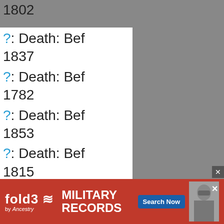?: Death: Bef 1802
?: Death: Bef 1837
?: Death: Bef 1782
?: Death: Bef 1853
?: Death: Bef 1815
?: Death: Bef 1835
?: Death: Bef 1846
?: Death: Bef 1874
?: Death: Bef 1875
?: Death: Bef 1865
[Figure (infographic): fold3 by Ancestry advertisement banner for Military Records with Search Now button and soldier photo]